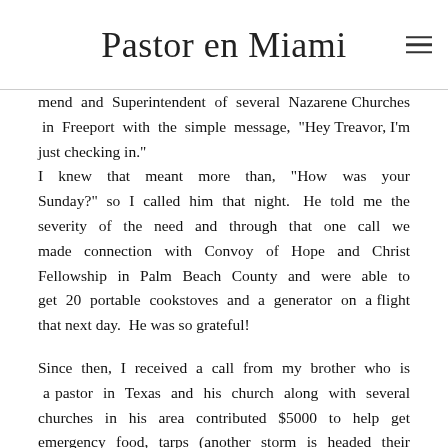Pastor en Miami
mend and Superintendent of several Nazarene Churches in Freeport with the simple message, "Hey Treavor, I'm just checking in."
I knew that meant more than, "How was your Sunday?" so I called him that night. He told me the severity of the need and through that one call we made connection with Convoy of Hope and Christ Fellowship in Palm Beach County and were able to get 20 portable cookstoves and a generator on a flight that next day. He was so grateful!
Since then, I received a call from my brother who is a pastor in Texas and his church along with several churches in his area contributed $5000 to help get emergency food, tarps (another storm is headed their way) and cleaning supplies on a flight to the Bahamas today (9/13). I will be flying to Freeport with